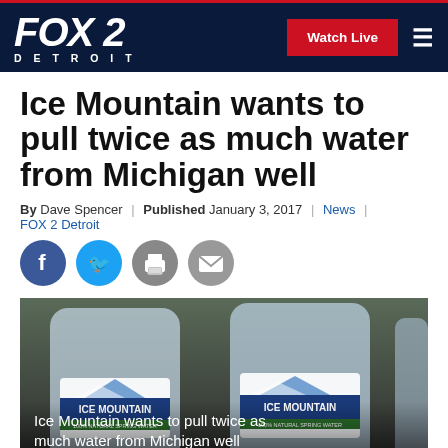FOX 2 DETROIT — Watch Live | Navigation
Ice Mountain wants to pull twice as much water from Michigan well
By Dave Spencer | Published January 3, 2017 | News | FOX 2 Detroit
[Figure (illustration): Social sharing icons: Facebook (blue circle), Twitter (blue circle), Print (grey circle), Email (grey circle)]
[Figure (photo): Ice Mountain water bottles photographed up close, showing the brand label with mountain logo and 'ICE MOUNTAIN 100% NATURAL SPRING WATER' text. Caption overlay reads: Ice Mountain wants to pull twice as much water from Michigan well]